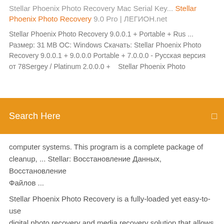Stellar Phoenix Photo Recovery Mac Serial Key... Stellar Phoenix Photo Recovery 9.0 Pro | ЛЕГИОН.net
Stellar Phoenix Photo Recovery 9.0.0.1 + Portable + Rus ... Размер: 31 MB ОС: Windows Скачать: Stellar Phoenix Photo Recovery 9.0.0.1 + 9.0.0.0 Portable + 7.0.0.0 - Русская версия от 78Sergey / Platinum 2.0.0.0 + ... Stellar Phoenix Photo
[Figure (screenshot): Orange search bar with white text 'Search Here' and a small icon on the right]
computer systems. This program is a complete package of cleanup, ... Stellar: Восстановление Данных, Восстановление Файлов ...
Stellar Phoenix Photo Recovery is a fully-loaded yet easy-to-use digital photo recovery and media recovery solution that allows you to recover photosStellar Phoenix Photo Recovery is normally priced at $11.99 per serial number / registration key. But as part of the promo offer, you can download... Stellar Phoenix Photo Recovery...